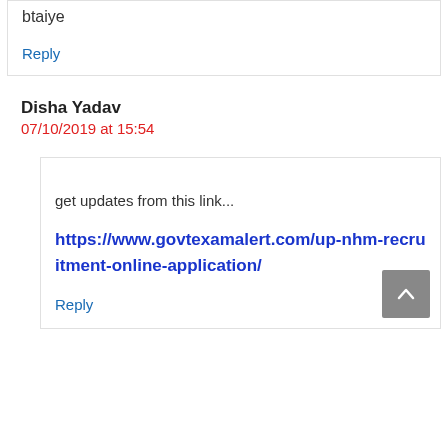btaiye
Reply
Disha Yadav
07/10/2019 at 15:54
get updates from this link...
https://www.govtexamalert.com/up-nhm-recruitment-online-application/
Reply